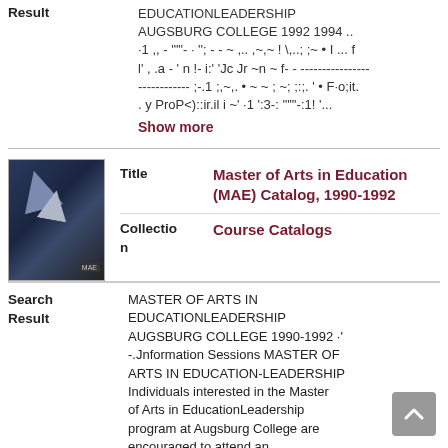Result   EDUCATIONLEADERSHIP AUGSBURG COLLEGE 1992 1994 .. ·1 ,, - '"""- · ''; - - ~ ,.. ,~,~ ! \,..; ;~ • I ... f l' , .a - ' n !- i:' 'Jc Jr ~n ~ f- - -------------------- ;-.1 ;,~,. • ~ ~ ; ~; ;:;. ' • F·o;it. . y ProP<)::ir.il i ~' ·1 ':3-; '""'-:1! '...
Show more
[Figure (photo): Thumbnail cover image of the Master of Arts in Education (MAE) Catalog, 1990-1992, dark blue background with triangular graphic elements]
| Title | Master of Arts in Education (MAE) Catalog, 1990-1992 |
| Collection | Course Catalogs |
| Search Result | MASTER OF ARTS IN EDUCATIONLEADERSHIP AUGSBURG COLLEGE 1990-1992 ·' -.Jnformation Sessions MASTER OF ARTS IN EDUCATION-LEADERSHIP Individuals interested in the Master of Arts in EducationLeadership program at Augsburg College are encouraged to attend an |
MASTER OF ARTS IN EDUCATIONLEADERSHIP AUGSBURG COLLEGE 1990-1992 ·' -.Jnformation Sessions MASTER OF ARTS IN EDUCATION-LEADERSHIP Individuals interested in the Master of Arts in EducationLeadership program at Augsburg College are encouraged to attend an